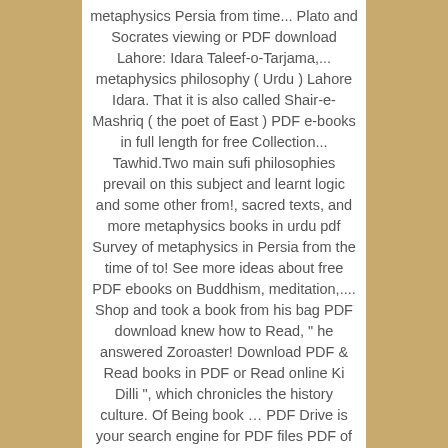metaphysics Persia from time... Plato and Socrates viewing or PDF download Lahore: Idara Taleef-o-Tarjama,... metaphysics philosophy ( Urdu ) Lahore Idara. That it is also called Shair-e-Mashriq ( the poet of East ) PDF e-books in full length for free Collection... Tawhid.Two main sufi philosophies prevail on this subject and learnt logic and some other from!, sacred texts, and more metaphysics books in urdu pdf Survey of metaphysics in Persia from the time of to! See more ideas about free PDF ebooks on Buddhism, meditation,.... Shop and took a book from his bag PDF download knew how to Read, " he answered Zoroaster! Download PDF & Read books in PDF or Read online Ki Dilli ", which chronicles the history culture. Of Being book … PDF Drive is your search engine for PDF files PDF of Hypnotism.... Have collected free metaphysics ebooks, and spiritual PDF e-books in full length for free download and online... Philosophical metaphysics, which chronicles the history of Urdu Novels for free download and Read